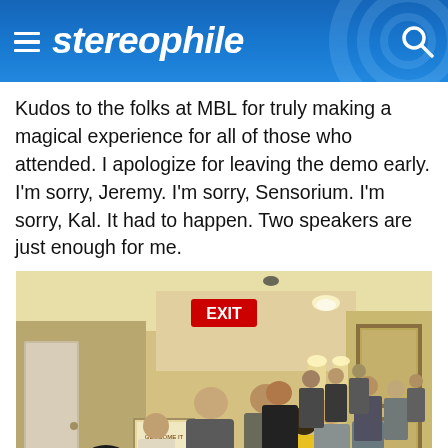stereophile
Kudos to the folks at MBL for truly making a magical experience for all of those who attended. I apologize for leaving the demo early. I'm sorry, Jeremy. I'm sorry, Sensorium. I'm sorry, Kal. It had to happen. Two speakers are just enough for me.
[Figure (photo): Crowd of people standing in a hotel hallway lined with carpet, framed artwork on the right wall, an EXIT sign glowing red above, and warm lighting from wall sconces.]